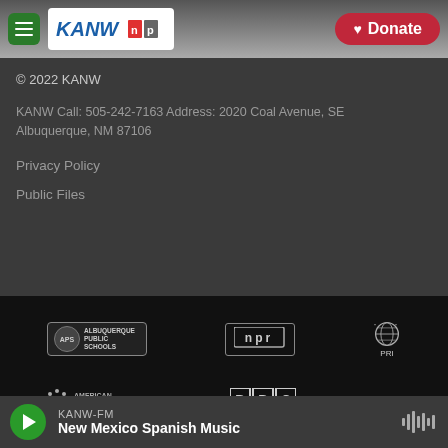[Figure (screenshot): KANW NPR radio station website header with menu button, KANW NPR logo, mountain background photo, and red Donate button]
© 2022 KANW
KANW Call: 505-242-7163 Address: 2020 Coal Avenue, SE Albuquerque, NM 87106
Privacy Policy
Public Files
[Figure (logo): Partner logos: Albuquerque Public Schools, NPR, PRI, American Public Media, BBC]
KANW-FM New Mexico Spanish Music